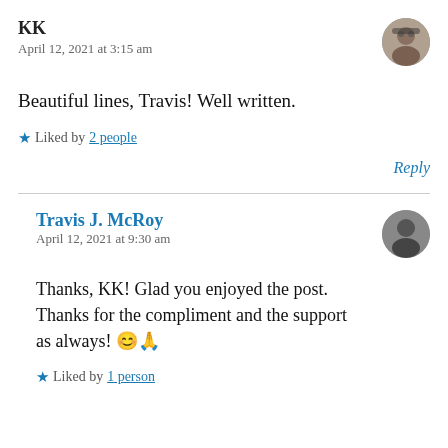KK
April 12, 2021 at 3:15 am
Beautiful lines, Travis! Well written.
★ Liked by 2 people
Reply
Travis J. McRoy
April 12, 2021 at 9:30 am
Thanks, KK! Glad you enjoyed the post. Thanks for the compliment and the support as always! 😊🙏
★ Liked by 1 person